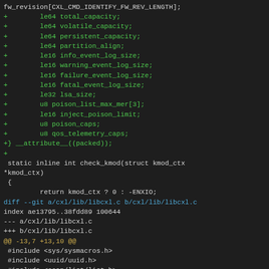fw_revision[CXL_CMD_IDENTIFY_FW_REV_LENGTH];
+		le64 total_capacity;
+		le64 volatile_capacity;
+		le64 persistent_capacity;
+		le64 partition_align;
+		le16 info_event_log_size;
+		le16 warning_event_log_size;
+		le16 failure_event_log_size;
+		le16 fatal_event_log_size;
+		le32 lsa_size;
+		u8 poison_list_max_mer[3];
+		le16 inject_poison_limit;
+		u8 poison_caps;
+		u8 qos_telemetry_caps;
+} __attribute__((packed));
+
 static inline int check_kmod(struct kmod_ctx
*kmod_ctx)
 {
		return kmod_ctx ? 0 : -ENXIO;
diff --git a/cxl/lib/libcxl.c b/cxl/lib/libcxl.c
index ae13795..38fdd89 100644
--- a/cxl/lib/libcxl.c
+++ b/cxl/lib/libcxl.c
@@ -13,7 +13,10 @@
 #include <sys/sysmacros.h>
 #include <uuid/uuid.h>
 #include <ccan/list/list.h>
+#include <ccan/endian/endian.h>
+#include <ccan/minmax/minmax.h>